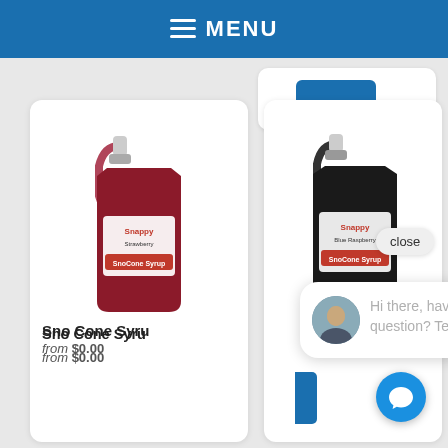☰ MENU
[Figure (photo): Red/dark-colored gallon jug of Snappy Sno Cone Syrup - left product card]
[Figure (photo): Dark/black gallon jug of Snappy Sno Cone Syrup - right product card]
Sno Cone Syru
from $0.00
close
Hi there, have a question? Text us here.